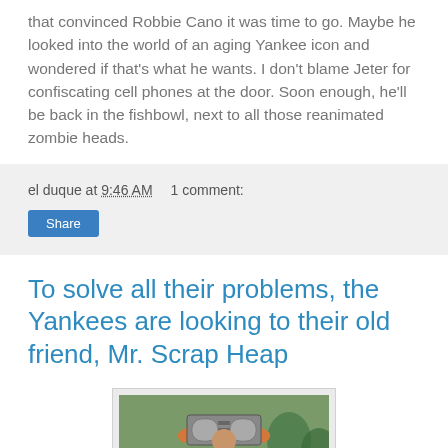that convinced Robbie Cano it was time to go. Maybe he looked into the world of an aging Yankee icon and wondered if that's what he wants. I don't blame Jeter for confiscating cell phones at the door. Soon enough, he'll be back in the fishbowl, next to all those reanimated zombie heads.
el duque at 9:46 AM   1 comment:
Share
To solve all their problems, the Yankees are looking to their old friend, Mr. Scrap Heap
[Figure (photo): A person in an orange shirt holding a boombox above their head, standing outdoors near a car with trees in the background.]